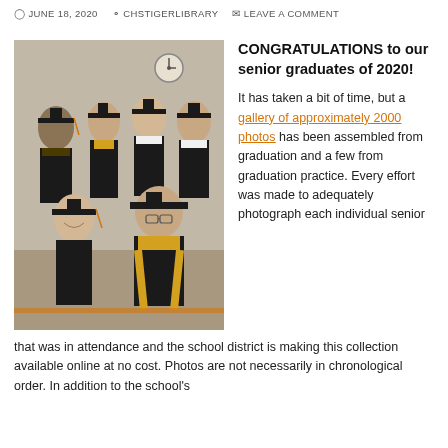JUNE 18, 2020  CHSTIGERLIBRARY  LEAVE A COMMENT
[Figure (photo): Group of six high school graduates in black graduation gowns and caps, some with gold/orange stoles, smiling and posing together in what appears to be a school hallway.]
CONGRATULATIONS to our senior graduates of 2020!
It has taken a bit of time, but a gallery of approximately 2000 photos has been assembled from graduation and a few from graduation practice. Every effort was made to adequately photograph each individual senior that was in attendance and the school district is making this collection available online at no cost. Photos are not necessarily in chronological order. In addition to the school's